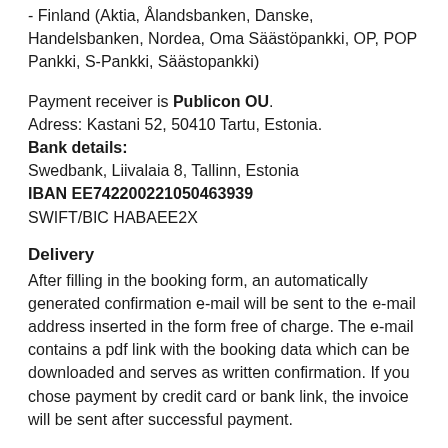- Finland (Aktia, Ålandsbanken, Danske, Handelsbanken, Nordea, Oma Säästöpankki, OP, POP Pankki, S-Pankki, Säästopankki)
Payment receiver is Publicon OU. Adress: Kastani 52, 50410 Tartu, Estonia.
Bank details:
Swedbank, Liivalaia 8, Tallinn, Estonia
IBAN EE742200221050463939
SWIFT/BIC HABAEE2X
Delivery
After filling in the booking form, an automatically generated confirmation e-mail will be sent to the e-mail address inserted in the form free of charge. The e-mail contains a pdf link with the booking data which can be downloaded and serves as written confirmation. If you chose payment by credit card or bank link, the invoice will be sent after successful payment.